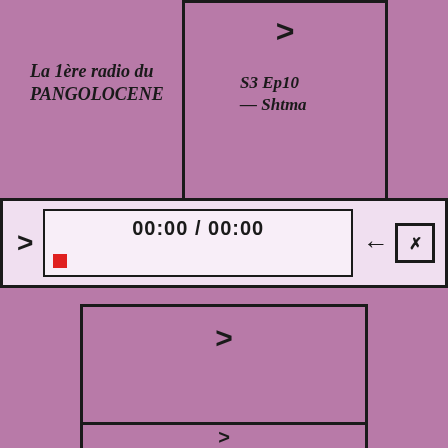La 1ère radio du PANGOLOCENE
S3 Ep10
— Shtma
[Figure (screenshot): Audio player bar with play button, timer showing 00:00 / 00:00, red progress indicator, back arrow button, and mute/close button]
[Figure (screenshot): Card with play arrow, Saison 03 / Épisode 09 label, and a plus button section below]
[Figure (screenshot): Partially visible card at bottom with arrow]